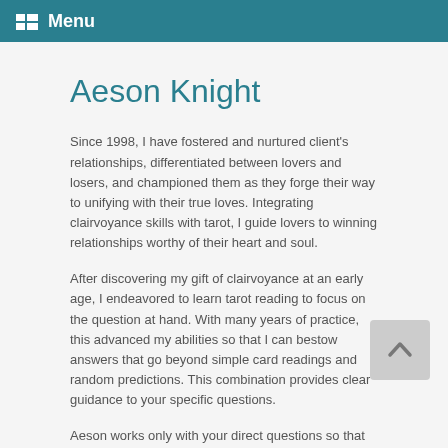Menu
Aeson Knight
Since 1998, I have fostered and nurtured client's relationships, differentiated between lovers and losers, and championed them as they forge their way to unifying with their true loves. Integrating clairvoyance skills with tarot, I guide lovers to winning relationships worthy of their heart and soul.
After discovering my gift of clairvoyance at an early age, I endeavored to learn tarot reading to focus on the question at hand. With many years of practice, this advanced my abilities so that I can bestow answers that go beyond simple card readings and random predictions. This combination provides clear guidance to your specific questions.
Aeson works only with your direct questions so that you get the information you need. Don't waste time with vague, unhelpful